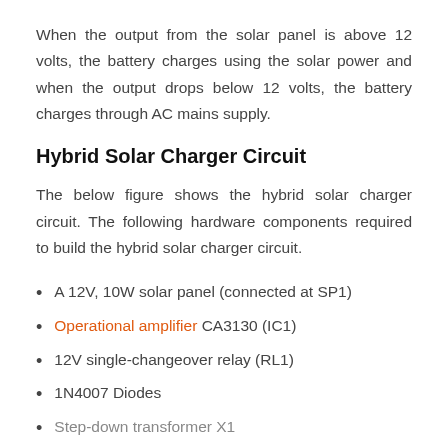When the output from the solar panel is above 12 volts, the battery charges using the solar power and when the output drops below 12 volts, the battery charges through AC mains supply.
Hybrid Solar Charger Circuit
The below figure shows the hybrid solar charger circuit. The following hardware components required to build the hybrid solar charger circuit.
A 12V, 10W solar panel (connected at SP1)
Operational amplifier CA3130 (IC1)
12V single-changeover relay (RL1)
1N4007 Diodes
Step-down transformer X1